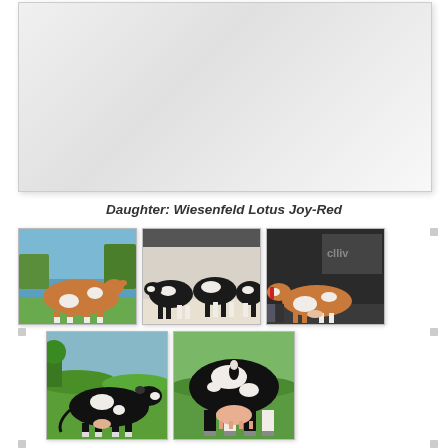[Figure (photo): Large white/gray area at the top of the page - blank or faded image area with light gradient background]
Daughter: Wiesenfeld Lotus Joy-Red
[Figure (photo): Grid of 5 cow/cattle photographs arranged in two rows: top row has 3 photos (red-and-white cow by lake, group of black-and-white Holstein cows, red-and-white cow at show), bottom row has 2 photos (black Holstein cow outdoors, rear view of black-and-white Holstein cow)]